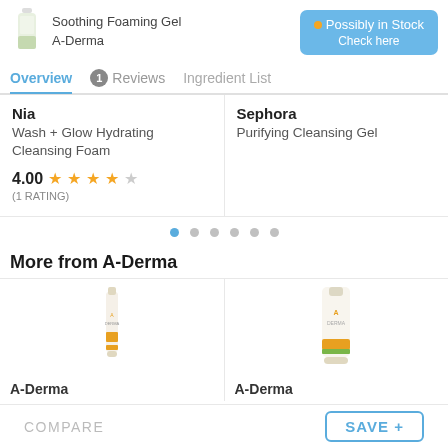Soothing Foaming Gel
A-Derma
Possibly in Stock
Check here
Overview | 1 Reviews | Ingredient List
Nia
Wash + Glow Hydrating Cleansing Foam
4.00 (1 RATING)
Sephora
Purifying Cleansing Gel
[Figure (other): Pagination dots, first dot active/blue]
More from A-Derma
[Figure (photo): A-Derma sunscreen tube product image]
[Figure (photo): A-Derma sunscreen tube product image]
A-Derma
A-Derma
COMPARE
SAVE +